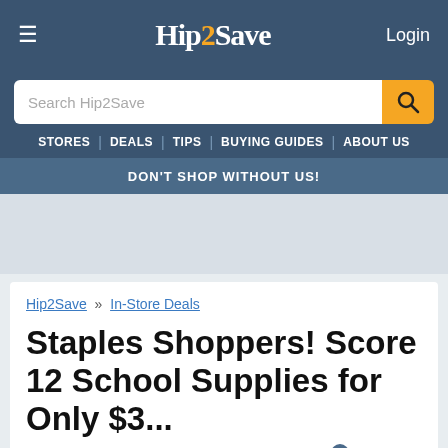≡  Hip2Save  Login
Search Hip2Save
STORES | DEALS | TIPS | BUYING GUIDES | ABOUT US
DON'T SHOP WITHOUT US!
Hip2Save » In-Store Deals
Staples Shoppers! Score 12 School Supplies for Only $3...
By Angie | Aug 14, 16